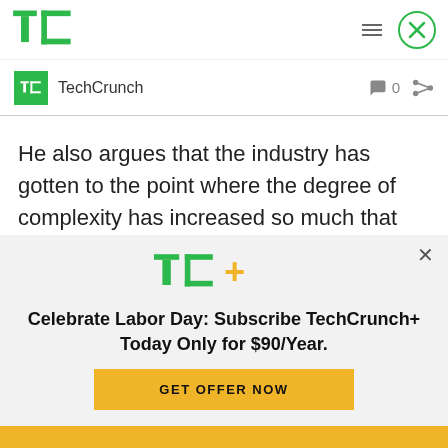[Figure (logo): TechCrunch TC green logo in header navigation bar]
[Figure (logo): TechCrunch small TC green square logo next to author name]
TechCrunch
0
He also argues that the industry has gotten to the point where the degree of complexity has increased so much that individual players can't do everything themselves anymore. In turn, that means various
[Figure (logo): TC+ TechCrunch Plus logo with green TC and yellow plus sign]
Celebrate Labor Day: Subscribe TechCrunch+ Today Only for $90/Year.
GET OFFER NOW